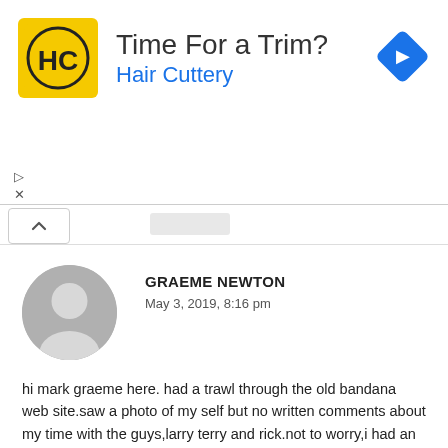[Figure (other): Hair Cuttery advertisement banner with logo, headline 'Time For a Trim?', subline 'Hair Cuttery', and a blue navigation arrow icon on the right.]
GRAEME NEWTON
May 3, 2019, 8:16 pm
hi mark graeme here. had a trawl through the old bandana web site.saw a photo of my self but no written comments about my time with the guys,larry terry and rick.not to worry,i had an unforgetable time with the band and ihope the guys are all doing well were ever they are and whatever they are up to.also i am glad to see that you are still flying the bandana flag.still got all my gear.especially my beloved old les paul and r2d2 my old fender amp.sadly time and cancer have caught with me so i have not done a great deal of live work but i do have a home recording set